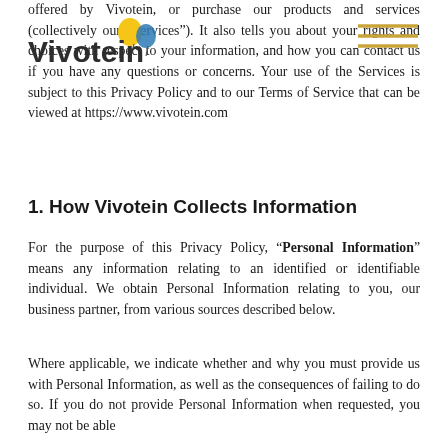[Figure (logo): Vivotein logo with yellow balloon graphic and orange horizontal lines decorative element]
offered by Vivotein, or purchase our products and services (collectively our "Services"). It also tells you about your rights and choices with respect to your information, and how you can contact us if you have any questions or concerns. Your use of the Services is subject to this Privacy Policy and to our Terms of Service that can be viewed at https://www.vivotein.com
1. How Vivotein Collects Information
For the purpose of this Privacy Policy, "Personal Information" means any information relating to an identified or identifiable individual. We obtain Personal Information relating to you, our business partner, from various sources described below.
Where applicable, we indicate whether and why you must provide us with Personal Information, as well as the consequences of failing to do so. If you do not provide Personal Information when requested, you may not be able